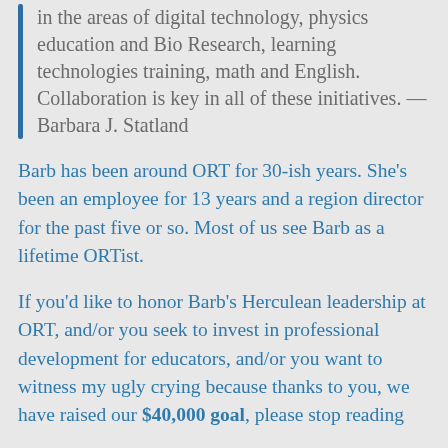in the areas of digital technology, physics education and Bio Research, learning technologies training, math and English.  Collaboration is key in all of these initiatives. — Barbara J. Statland
Barb has been around ORT for 30-ish years. She's been an employee for 13 years and a region director for the past five or so. Most of us see Barb as a lifetime ORTist.
If you'd like to honor Barb's Herculean leadership at ORT, and/or you seek to invest in professional development for educators, and/or you want to witness my ugly crying because thanks to you, we have raised our $40,000 goal, please stop reading